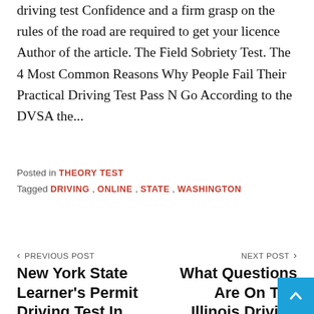driving test Confidence and a firm grasp on the rules of the road are required to get your licence Author of the article. The Field Sobriety Test. The 4 Most Common Reasons Why People Fail Their Practical Driving Test Pass N Go According to the DVSA the...
Posted in THEORY TEST
Tagged DRIVING , ONLINE , STATE , WASHINGTON
‹ PREVIOUS POST
New York State Learner's Permit Driving Test In
NEXT POST ›
What Questions Are On The Illinois Driving